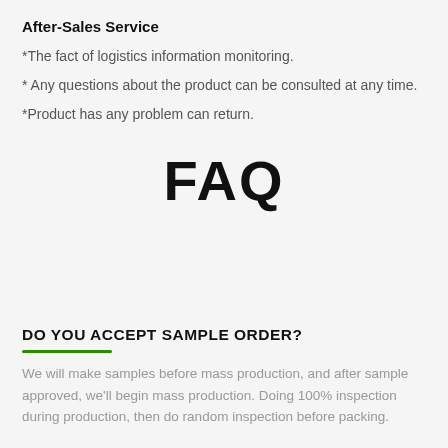After-Sales Service
*The fact of logistics information monitoring.
* Any questions about the product can be consulted at any time.
*Product has any problem can return.
FAQ
DO YOU ACCEPT SAMPLE ORDER?
We will make samples before mass production, and after sample approved, we'll begin mass production. Doing 100% inspection during production, then do random inspection before packing.